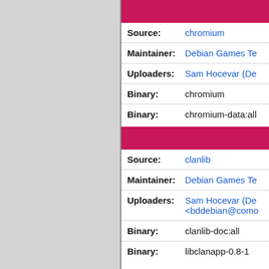| Field | Value |
| --- | --- |
| Source: | chromium |
| Maintainer: | Debian Games Te... |
| Uploaders: | Sam Hocevar (De... |
| Binary: | chromium |
| Binary: | chromium-data:all |
| Field | Value |
| --- | --- |
| Source: | clanlib |
| Maintainer: | Debian Games Te... |
| Uploaders: | Sam Hocevar (De... <bddebian@como... |
| Binary: | clanlib-doc:all |
| Binary: | libclanapp-0.8-1 |